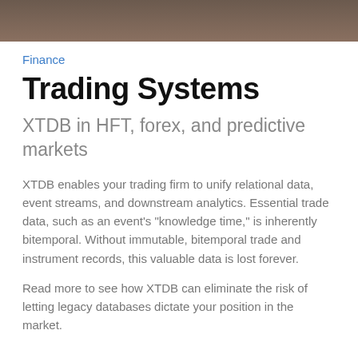[Figure (photo): Partial photograph visible at the top of the page, showing a dark brownish/amber toned image, cropped to a narrow horizontal bar.]
Finance
Trading Systems
XTDB in HFT, forex, and predictive markets
XTDB enables your trading firm to unify relational data, event streams, and downstream analytics. Essential trade data, such as an event's "knowledge time," is inherently bitemporal. Without immutable, bitemporal trade and instrument records, this valuable data is lost forever.
Read more to see how XTDB can eliminate the risk of letting legacy databases dictate your position in the market.